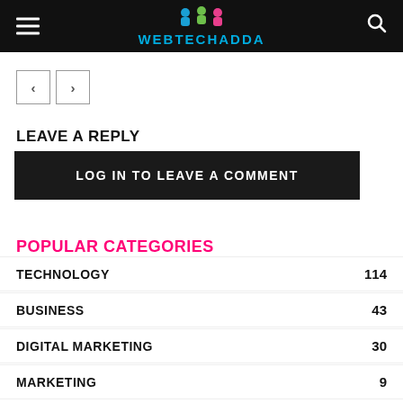WEBTECHADDA
LEAVE A REPLY
LOG IN TO LEAVE A COMMENT
POPULAR CATEGORIES
TECHNOLOGY  114
BUSINESS  43
DIGITAL MARKETING  30
MARKETING  9